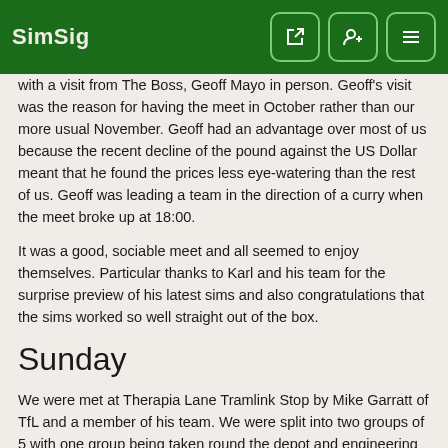SimSig
with a visit from The Boss, Geoff Mayo in person. Geoff's visit was the reason for having the meet in October rather than our more usual November. Geoff had an advantage over most of us because the recent decline of the pound against the US Dollar meant that he found the prices less eye-watering than the rest of us. Geoff was leading a team in the direction of a curry when the meet broke up at 18:00.
It was a good, sociable meet and all seemed to enjoy themselves. Particular thanks to Karl and his team for the surprise preview of his latest sims and also congratulations that the sims worked so well straight out of the box.
Sunday
We were met at Therapia Lane Tramlink Stop by Mike Garratt of TfL and a member of his team. We were split into two groups of 5 with one group being taken round the depot and engineering side of the operation then visiting the Control Room while the other group visited the Control Room first before seeing the depot and engineering functions.
Tramlink carry out an impressive amount of heavy maintenance in a tightly confined depot including a lot by necessity as Bombardier can no longer guarantee to supply parts for the original trams used by the